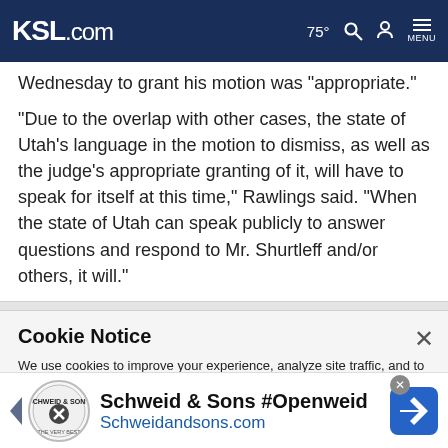KSL.com  75°  MENU
Wednesday to grant his motion was 'appropriate.'
"Due to the overlap with other cases, the state of Utah's language in the motion to dismiss, as well as the judge's appropriate granting of it, will have to speak for itself at this time," Rawlings said. "When the state of Utah can speak publicly to answer questions and respond to Mr. Shurtleff and/or others, it will."
Cookie Notice
We use cookies to improve your experience, analyze site traffic, and to personalize content and ads. By continuing to use our site, you consent to our use of cookies. Please visit our Terms of Use and  Privacy Policy for more information
[Figure (other): Advertisement banner for Schweid & Sons #Openweid with logo and blue arrow icon, website Schweidandsons.com]